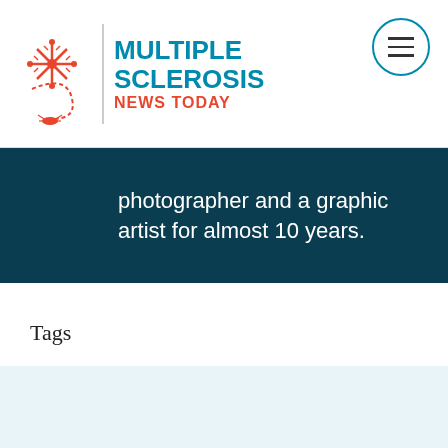Multiple Sclerosis News Today
photographer and a graphic artist for almost 10 years.
Tags
home care, home modifications, improving MS mobility, living with MS